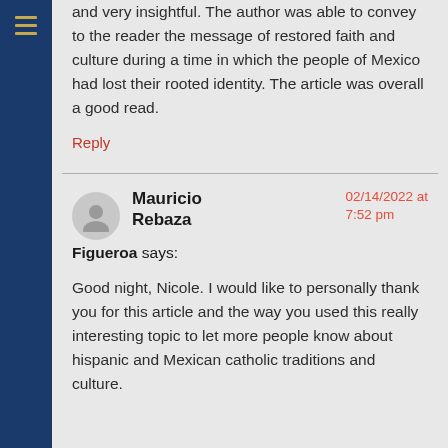and very insightful. The author was able to convey to the reader the message of restored faith and culture during a time in which the people of Mexico had lost their rooted identity. The article was overall a good read.
Reply
Mauricio Rebaza Figueroa says:
02/14/2022 at 7:52 pm
Good night, Nicole. I would like to personally thank you for this article and the way you used this really interesting topic to let more people know about hispanic and Mexican catholic traditions and culture.